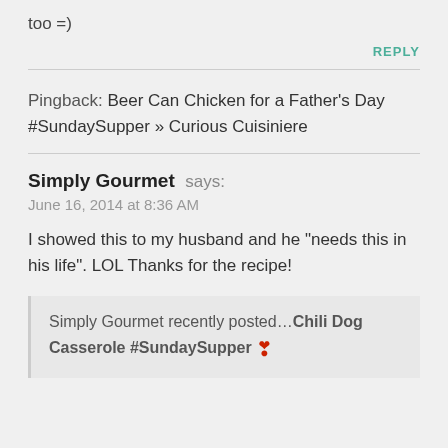too =)
REPLY
Pingback: Beer Can Chicken for a Father's Day #SundaySupper » Curious Cuisiniere
Simply Gourmet says:
June 16, 2014 at 8:36 AM
I showed this to my husband and he "needs this in his life". LOL Thanks for the recipe!
Simply Gourmet recently posted…Chili Dog Casserole #SundaySupper